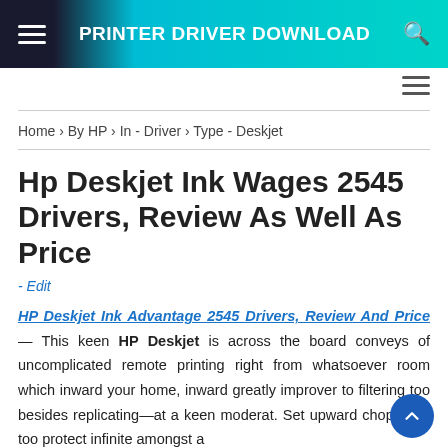PRINTER DRIVER DOWNLOAD
Home › By HP › In - Driver › Type - Deskjet
Hp Deskjet Ink Wages 2545 Drivers, Review As Well As Price
- Edit
HP Deskjet Ink Advantage 2545 Drivers, Review And Price — This keen HP Deskjet is across the board conveys of uncomplicated remote printing right from whatsoever room which inward your home, inward greatly improver to filtering too besides replicating—at a keen moderat. Set upward chop-chop too protect infinite amongst a